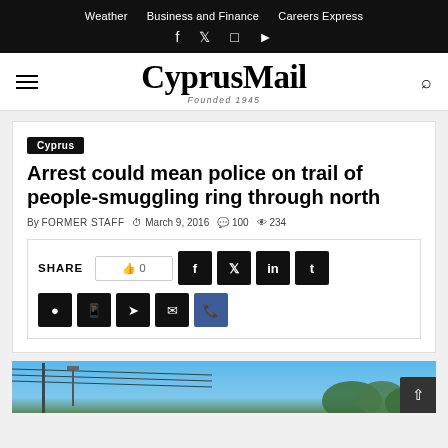Weather  Business and Finance  Careers Express
CyprusMail — Founded 1945
Cyprus
Arrest could mean police on trail of people-smuggling ring through north
By FORMER STAFF  March 9, 2016  100  234
SHARE  0  f  t  in  t  (reddit) (whatsapp) (telegram) (email) (viber)
[Figure (photo): Street scene with utility wires against blue sky and trees, partially visible at bottom of page]